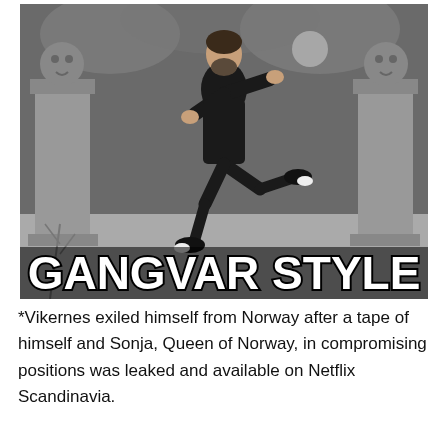[Figure (photo): A meme image showing a bearded man in a black suit doing the 'Gangnam Style' dance pose, composited over a dark gothic pencil-drawn background with demonic pillars and stormy sky. Bold white text with black outline at the bottom reads 'GANGVAR STYLE'.]
*Vikernes exiled himself from Norway after a tape of himself and Sonja, Queen of Norway, in compromising positions was leaked and available on Netflix Scandinavia.